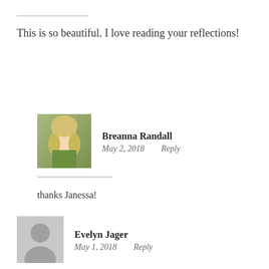This is so beautiful. I love reading your reflections!
[Figure (photo): Profile photo of Breanna Randall, a young woman with blonde hair wearing a green jacket, outdoors]
Breanna Randall
May 2, 2018   Reply
thanks Janessa!
[Figure (illustration): Generic gray user avatar silhouette placeholder image]
Evelyn Jager
May 1, 2018   Reply